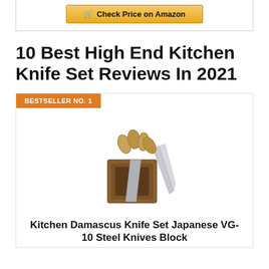[Figure (screenshot): Amazon 'Check Price on Amazon' button at top of page inside a bordered box]
10 Best High End Kitchen Knife Set Reviews In 2021
BESTSELLER NO. 1
[Figure (photo): Kitchen Damascus knife set with wooden block holder, showing multiple knives with decorative handles]
Kitchen Damascus Knife Set Japanese VG-10 Steel Knives Block...